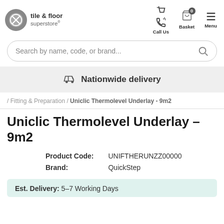[Figure (logo): Tile & Floor Superstore logo with circular icon and text]
Call Us | Basket 0 | Menu
Search by name, code, or brand...
Nationwide delivery
/ Fitting & Preparation / Uniclic Thermolevel Underlay - 9m2
Uniclic Thermolevel Underlay - 9m2
| Product Code: | UNIFTHERUNZZ00000 |
| Brand: | QuickStep |
Est. Delivery: 5-7 Working Days